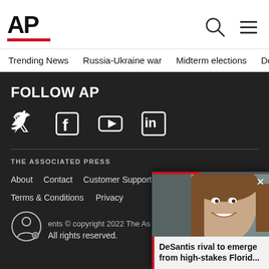[Figure (logo): AP (Associated Press) logo with red underline bar]
[Figure (other): Search icon (magnifying glass) and hamburger menu icon]
Trending News   Russia-Ukraine war   Midterm elections   Dona...
FOLLOW AP
[Figure (other): Social media icons: Twitter, Facebook, YouTube, LinkedIn]
THE ASSOCIATED PRESS
About   Contact   Customer Support   Careers
Terms & Conditions   Privacy
[Figure (other): Accessibility icon (person in circle) and copyright text: © copyright 2022 The As...]
All rights reserved.
[Figure (photo): Video popup overlay showing smiling woman with brown hair, close button X, red progress bar at top, and caption: DeSantis rival to emerge from high-stakes Florid...]